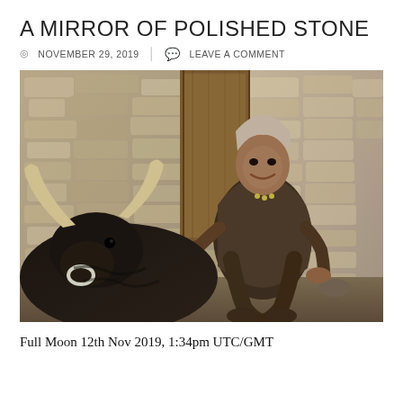A MIRROR OF POLISHED STONE
⊙ NOVEMBER 29, 2019   ✉ LEAVE A COMMENT
[Figure (photo): An elderly Himalayan man sitting against a stone wall next to a black yak with large curved horns. The man has gray hair and is smiling, wearing traditional dark robes. A wooden door is visible behind him.]
Full Moon 12th Nov 2019, 1:34pm UTC/GMT